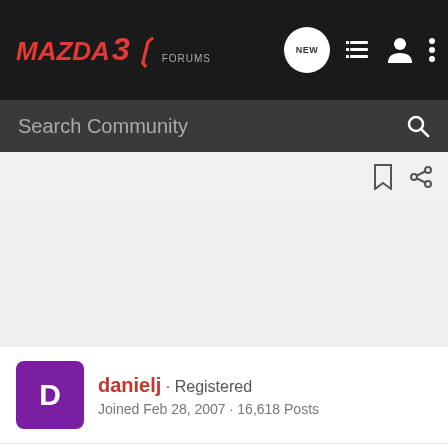MAZDA3 FORUMS
Search Community
danielj · Registered
Joined Feb 28, 2007 · 16,618 Posts
Discussion Starter · #5 · Feb 12, 2009
[quote author=jreeves_86 link=topic=136139.msg2933046#msg2933046 date=1234488342]
better not kill my lights 😀